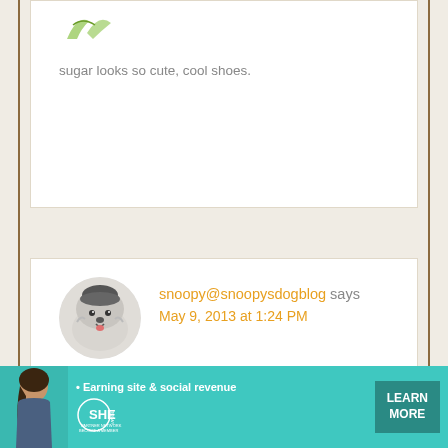sugar looks so cute, cool shoes.
snoopy@snoopysdogblog says
May 9, 2013 at 1:24 PM
Love it Sugar! You know they say once you get one tattoo you can't stop, I wonder what your next one will be?

I hope you're having a fun day,

Your pal Snoopy 🙂
[Figure (infographic): SHE Media partner network advertisement banner with woman photo, tagline 'Earning site & social revenue', SHE logo, and LEARN MORE button]